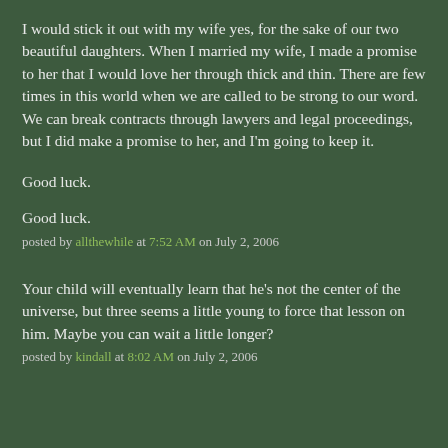I would stick it out with my wife yes, for the sake of our two beautiful daughters. When I married my wife, I made a promise to her that I would love her through thick and thin. There are few times in this world when we are called to be strong to our word. We can break contracts through lawyers and legal proceedings, but I did make a promise to her, and I'm going to keep it.
Good luck.
Good luck.
posted by allthewhile at 7:52 AM on July 2, 2006
Your child will eventually learn that he's not the center of the universe, but three seems a little young to force that lesson on him. Maybe you can wait a little longer?
posted by kindall at 8:02 AM on July 2, 2006